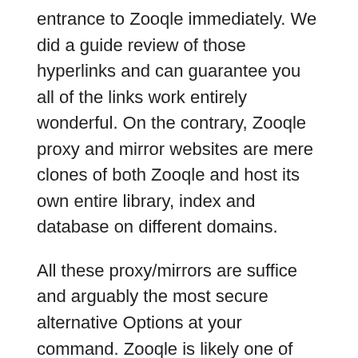entrance to Zooqle immediately. We did a guide review of those hyperlinks and can guarantee you all of the links work entirely wonderful. On the contrary, Zooqle proxy and mirror websites are mere clones of both Zooqle and host its own entire library, index and database on different domains.
All these proxy/mirrors are suffice and arguably the most secure alternative Options at your command. Zooqle is likely one of the most recent and hottest torrenting site on the Internet. Despite being fresh in the area, it has an extremely huge range of Films, TV reveals, Apps, Music and Games from its collection.
The site also options well-liked information about motion